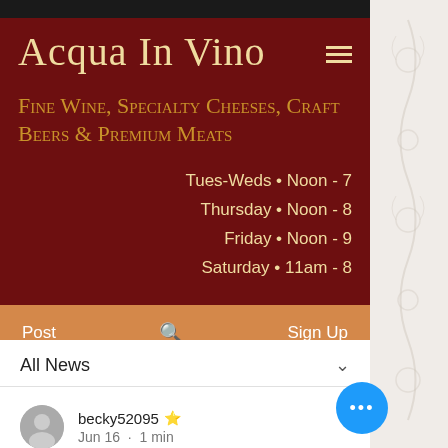Acqua In Vino
Fine Wine, Specialty Cheeses, Craft Beers & Premium Meats
Tues-Weds • Noon - 7
Thursday • Noon - 8
Friday • Noon - 9
Saturday • 11am - 8
Post    🔍    Sign Up
All News
becky52095 ⭐ Jun 16 · 1 min